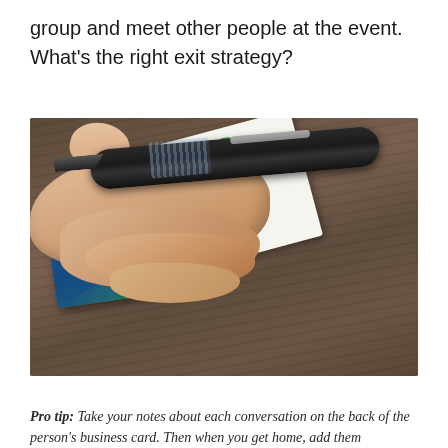group and meet other people at the event. What's the right exit strategy?
[Figure (photo): A hand holding a pen, writing on the back of a business card. In the background is a white Landmark business card belonging to Matt Miller MD, SVP Clinical Strategy and Head of Innovation. The cards are resting on a wooden surface.]
Pro tip: Take your notes about each conversation on the back of the person's business card. Then when you get home, add them